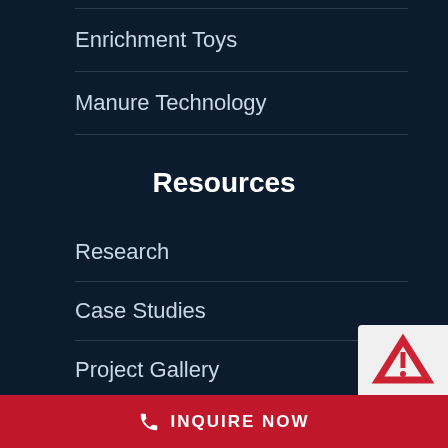Enrichment Toys
Manure Technology
Resources
Research
Case Studies
Project Gallery
Video Gallery
Downloads
INQUIRE NOW